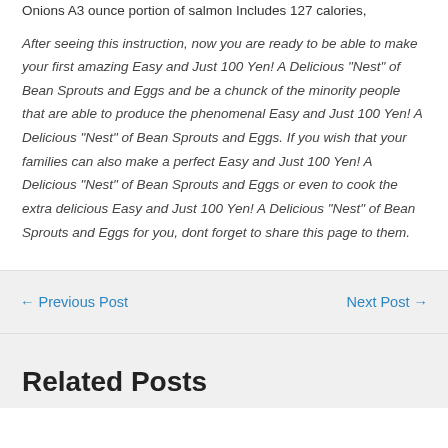Onions A3 ounce portion of salmon Includes 127 calories,
After seeing this instruction, now you are ready to be able to make your first amazing Easy and Just 100 Yen! A Delicious "Nest" of Bean Sprouts and Eggs and be a chunck of the minority people that are able to produce the phenomenal Easy and Just 100 Yen! A Delicious "Nest" of Bean Sprouts and Eggs. If you wish that your families can also make a perfect Easy and Just 100 Yen! A Delicious "Nest" of Bean Sprouts and Eggs or even to cook the extra delicious Easy and Just 100 Yen! A Delicious "Nest" of Bean Sprouts and Eggs for you, dont forget to share this page to them.
← Previous Post
Next Post →
Related Posts